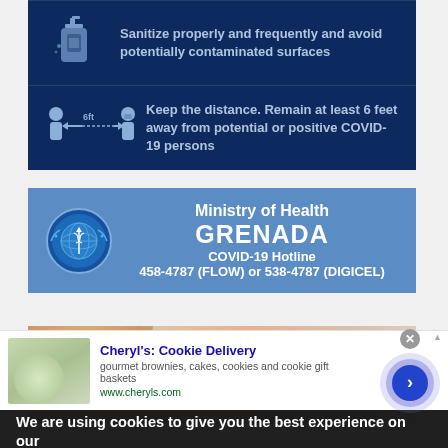[Figure (infographic): COVID-19 health guidelines infographic on dark navy background. Shows sanitize icon with text about sanitizing properly and frequently. Shows social distance icon (6ft between two figures) with text about keeping distance of 6 feet from COVID-19 persons.]
[Figure (infographic): Ministry of Health Grenada banner in blue. Shows WHO-style logo on left. Text: Ministry of Health GRENADA COVID-19 Hotline 458-4787 (FLOW) or 538-4787 (DIGICEL)]
[Figure (photo): Photo strip showing a child's face and partial cursive text overlay reading 'Chose' in purple]
We are using cookies to give you the best experience on our
infolinks
Cheryl's: Cookie Delivery
gourmet brownies, cakes, cookies and cookie gift baskets
www.cheryls.com